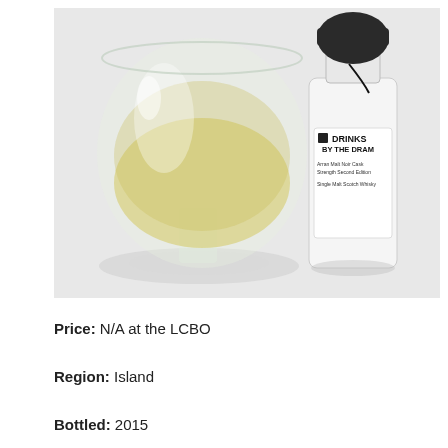[Figure (photo): A whisky tasting glass filled with pale golden liquid beside a small 'Drinks by the Dram' sample bottle labeled 'Arran Malt Noir Cask Strength Second Edition Single Malt Scotch Whisky', with a dark wax-sealed cap, on a white surface.]
Price: N/A at the LCBO
Region: Island
Bottled: 2015